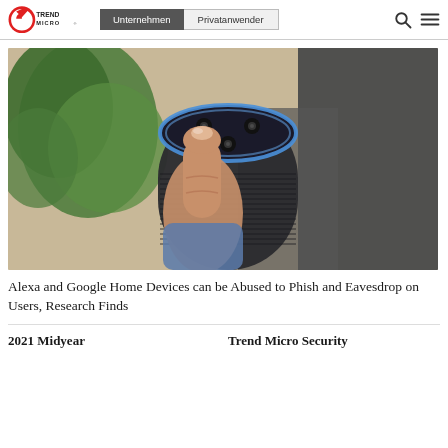Trend Micro | Unternehmen | Privatanwender
[Figure (photo): A person pressing the top button of an Amazon Echo (Alexa) smart speaker with a blue ring light, with a green plant in the background]
Alexa and Google Home Devices can be Abused to Phish and Eavesdrop on Users, Research Finds
2021 Midyear   Trend Micro Security